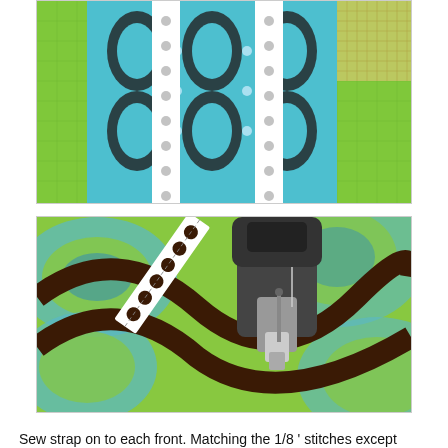[Figure (photo): Top-down view of patterned fabric strips laid on a green cutting mat. Two vertical strips of white fabric with small polka dots are placed over a larger piece of black, teal, and brown geometric patterned fabric.]
[Figure (photo): Close-up of a sewing machine presser foot stitching along a white polka-dot ribbon/strap on top of colorful green, teal, brown swirl-patterned fabric. A pink pin is visible near the top.]
Sew strap on to each front. Matching the 1/8 ' stitches except